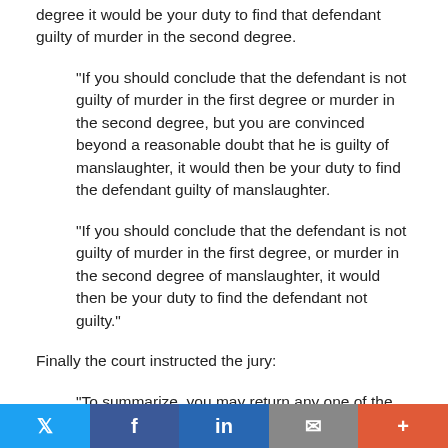degree it would be your duty to find that defendant guilty of murder in the second degree.
"If you should conclude that the defendant is not guilty of murder in the first degree or murder in the second degree, but you are convinced beyond a reasonable doubt that he is guilty of manslaughter, it would then be your duty to find the defendant guilty of manslaughter.
"If you should conclude that the defendant is not guilty of murder in the first degree, or murder in the second degree of manslaughter, it would then be your duty to find the defendant not guilty."
Finally the court instructed the jury:
"To summarize, you may return any one of the following verdicts:
[Figure (infographic): Social sharing bar with Twitter, Facebook, LinkedIn, email, and more buttons]